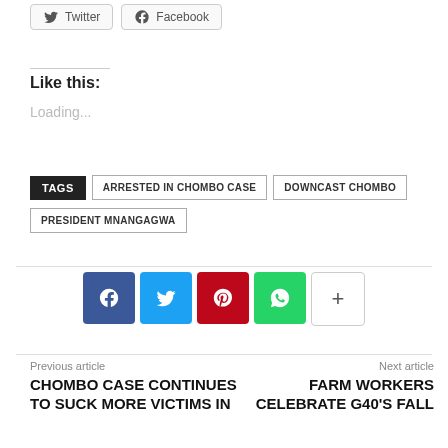[Figure (other): Twitter and Facebook share buttons at the top of the page]
Like this:
Loading...
TAGS  ARRESTED IN CHOMBO CASE  DOWNCAST CHOMBO  PRESIDENT MNANGAGWA
[Figure (other): Row of social sharing icon buttons: Facebook (blue), Twitter (light blue), Pinterest (red), WhatsApp (green), More (+) (white/grey)]
Previous article
CHOMBO CASE CONTINUES TO SUCK MORE VICTIMS IN
Next article
FARM WORKERS CELEBRATE G40'S FALL